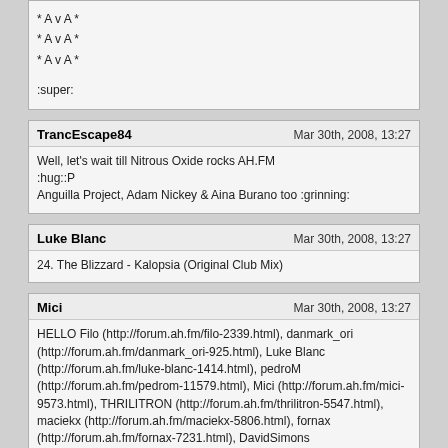* A v A *
* A v A *
* A v A *

:super:
TrancEscape84 — Mar 30th, 2008, 13:27
Well, let's wait till Nitrous Oxide rocks AH.FM
:hug::P
Anguilla Project, Adam Nickey & Aina Burano too :grinning:
Luke Blanc — Mar 30th, 2008, 13:27
24. The Blizzard - Kalopsia (Original Club Mix)
Mici — Mar 30th, 2008, 13:27
HELLO Filo (http://forum.ah.fm/filo-2339.html), danmark_ori (http://forum.ah.fm/danmark_ori-925.html), Luke Blanc (http://forum.ah.fm/luke-blanc-1414.html), pedroM (http://forum.ah.fm/pedrom-11579.html), Mici (http://forum.ah.fm/mici-9573.html), THRILITRON (http://forum.ah.fm/thrilitron-5547.html), maciekx (http://forum.ah.fm/maciekx-5806.html), fornax (http://forum.ah.fm/fornax-7231.html), DavidSimons (http://forum.ah.fm/davidsimons-3367.html), Braincreator (http://forum.ah.fm/braincreator-6164.html), Tomek (http://forum.ah.fm/tomek-3107.html), JayCan (http://forum.ah.fm/jaycan-10914.html), Dj Nicca (http://forum.ah.fm/dj-nicca-7875.html), magik (http://forum.ah.fm/magik-871.html), TrancEscape84 (http://forum.ah.fm/trancescape84-2390.html), Sweety (http://forum.ah.fm/sweety-7221.html), BassT4ken (http://forum.ah.fm/basst4ken-4281.html), Yahr (http://forum.ah.fm/yahr-4445.html)...